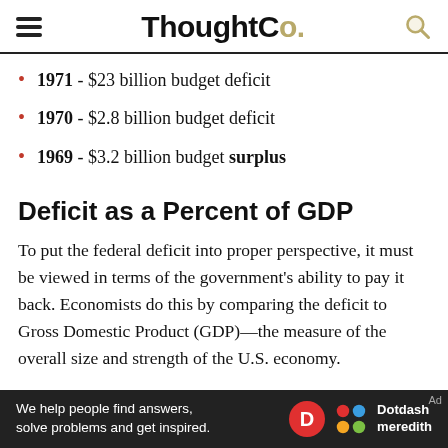ThoughtCo.
1971 - $23 billion budget deficit
1970 - $2.8 billion budget deficit
1969 - $3.2 billion budget surplus
Deficit as a Percent of GDP
To put the federal deficit into proper perspective, it must be viewed in terms of the government’s ability to pay it back. Economists do this by comparing the deficit to Gross Domestic Product (GDP)—the measure of the overall size and strength of the U.S. economy.
This “debt-to-GDP ratio” is a ratio between the cumulative
[Figure (other): Dotdash Meredith advertisement banner: 'We help people find answers, solve problems and get inspired.' with Dotdash Meredith logo]